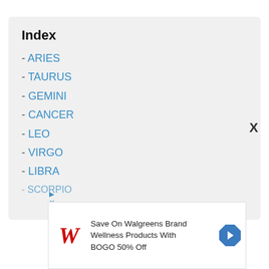Index
- ARIES
- TAURUS
- GEMINI
- CANCER
- LEO
- VIRGO
- LIBRA
- SCORPIO
Save On Walgreens Brand Wellness Products With BOGO 50% Off